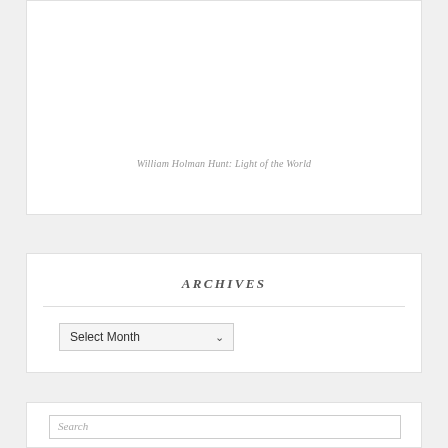William Holman Hunt: Light of the World
ARCHIVES
Select Month